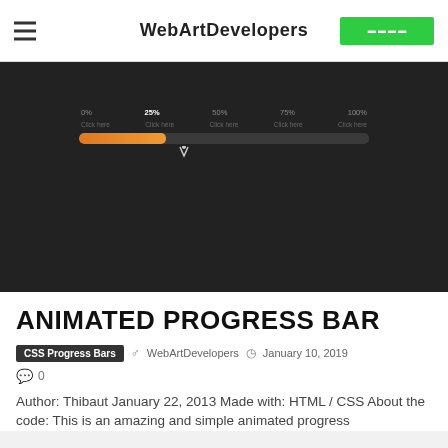WebArtDevelopers
[Figure (screenshot): Dark background demo of an animated CSS progress bar with percentage markers (0%, 25%, 50%, 75%, 100%) and an orange filled bar at approximately 30% progress on a dark background.]
ANIMATED PROGRESS BAR
CSS Progress Bars  ♂  WebArtDevelopers  ◷  January 10, 2019
💬 0
Author: Thibaut January 22, 2013 Made with: HTML / CSS About the code: This is an amazing and simple animated progress